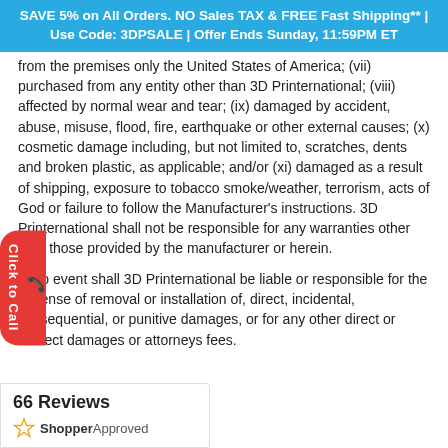SAVE 5% on All Orders. NO Sales TAX & FREE Fast Shipping** | Use Code: 3DPSALE | Offer Ends Sunday, 11:59PM ET
from the premises only the United States of America; (vii) purchased from any entity other than 3D Printernational; (viii) affected by normal wear and tear; (ix) damaged by accident, abuse, misuse, flood, fire, earthquake or other external causes; (x) cosmetic damage including, but not limited to, scratches, dents and broken plastic, as applicable; and/or (xi) damaged as a result of shipping, exposure to tobacco smoke/weather, terrorism, acts of God or failure to follow the Manufacturer's instructions. 3D Printernational shall not be responsible for any warranties other than those provided by the manufacturer or herein.
In no event shall 3D Printernational be liable or responsible for the expense of removal or installation of, direct, incidental, consequential, or punitive damages, or for any other direct or indirect damages or attorneys fees.